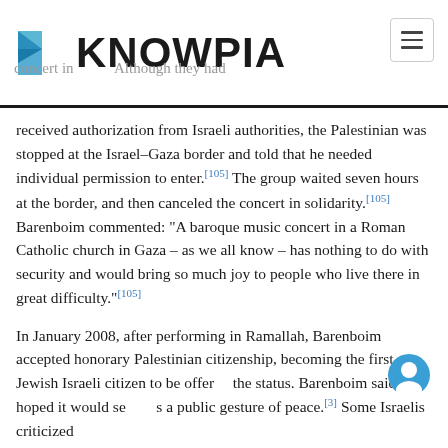KNOWPIA
received authorization from Israeli authorities, the Palestinian was stopped at the Israel–Gaza border and told that he needed individual permission to enter.[105] The group waited seven hours at the border, and then canceled the concert in solidarity.[105] Barenboim commented: "A baroque music concert in a Roman Catholic church in Gaza – as we all know – has nothing to do with security and would bring so much joy to people who live there in great difficulty."[105]
In January 2008, after performing in Ramallah, Barenboim accepted honorary Palestinian citizenship, becoming the first Jewish Israeli citizen to be offered the status. Barenboim said he hoped it would serve as a public gesture of peace.[3] Some Israelis criticized